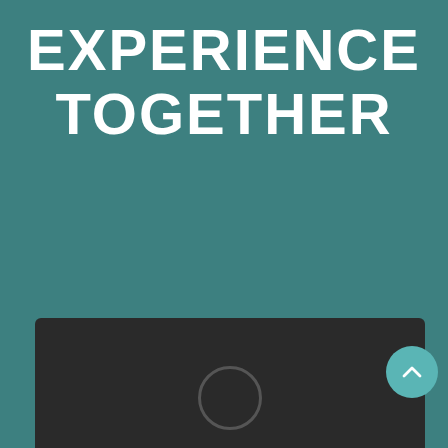EXPERIENCE TOGETHER
[Figure (illustration): A dark rounded rectangular device (laptop or tablet base) shown from above at the bottom of the page, with a circular button/trackpad element visible. A teal circular scroll-up button with a chevron arrow is overlaid on the right side of the device.]